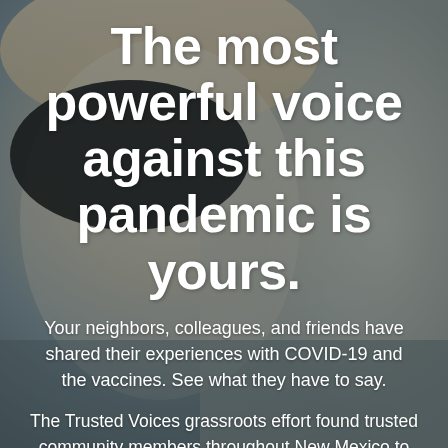[Figure (photo): A person wearing a black face mask, photographed outdoors with a blurred background. The person appears to be a young individual; the image is in color with natural outdoor lighting.]
The most powerful voice against this pandemic is yours.
Your neighbors, colleagues, and friends have shared their experiences with COVID-19 and the vaccines. See what they have to say.
The Trusted Voices grassroots effort found trusted community members throughout New Mexico to share pandemic response messages with their audiences via social media. Listen to the voices of people you trust; those who understand you, your community and your